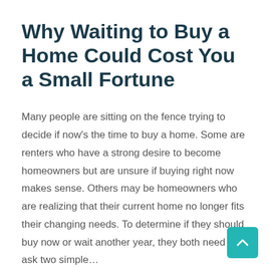Why Waiting to Buy a Home Could Cost You a Small Fortune
Many people are sitting on the fence trying to decide if now’s the time to buy a home. Some are renters who have a strong desire to become homeowners but are unsure if buying right now makes sense. Others may be homeowners who are realizing that their current home no longer fits their changing needs. To determine if they should buy now or wait another year, they both need to ask two simple…